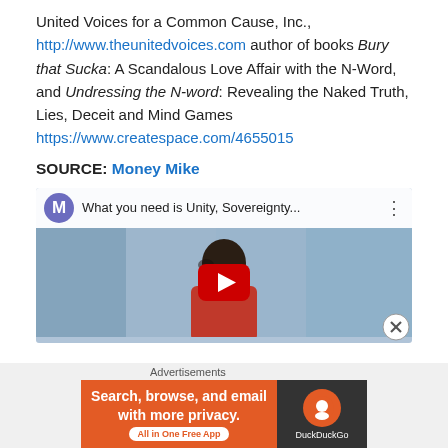United Voices for a Common Cause, Inc., http://www.theunitedvoices.com author of books Bury that Sucka: A Scandalous Love Affair with the N-Word, and Undressing the N-word: Revealing the Naked Truth, Lies, Deceit and Mind Games https://www.createspace.com/4655015
SOURCE: Money Mike
[Figure (screenshot): YouTube video thumbnail showing a person in front of historical images. Title reads 'What you need is Unity, Sovereignty...' with a red play button in the center. Video channel avatar shows letter M in a purple circle.]
Advertisements
[Figure (screenshot): DuckDuckGo advertisement banner. Left side orange background with text 'Search, browse, and email with more privacy. All in One Free App'. Right side dark background with DuckDuckGo logo.]